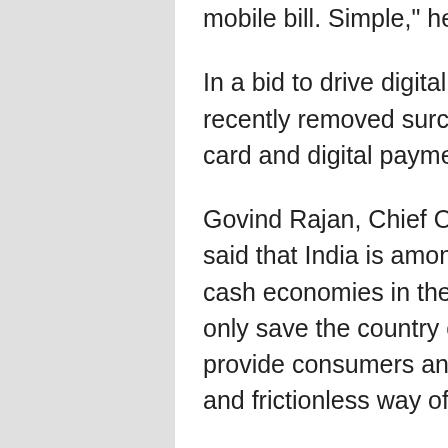mobile bill. Simple," he said.
In a bid to drive digital payments, the Cabinet recently removed surcharge and service charge on card and digital payments.
Govind Rajan, Chief Operating Officer, FreeCharge, said that India is amongst the most cash intensive cash economies in the world. “Going digital will not only save the country crores of rupees, it will also provide consumers and merchants a more secure and frictionless way of transacting,” he said.
A week ago, FreeCharge had stated that it is currently recording one million transactions a day, and plans to hit seven million transactions a day by the end of 2016.
[“source-gadgets.ndtv”]